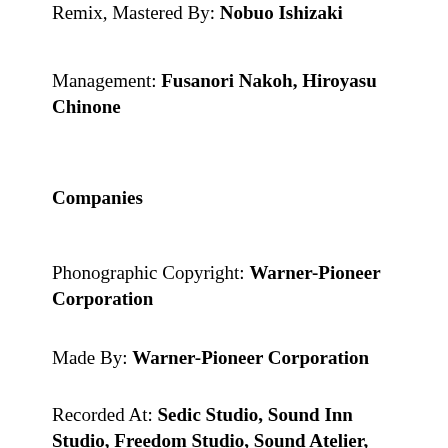Remix, Mastered By: Nobuo Ishizaki
Management: Fusanori Nakoh, Hiroyasu Chinone
Companies
Phonographic Copyright: Warner-Pioneer Corporation
Made By: Warner-Pioneer Corporation
Recorded At: Sedic Studio, Sound Inn Studio, Freedom Studio, Sound Atelier,
Cheese Island Studio and Music Inn Studio